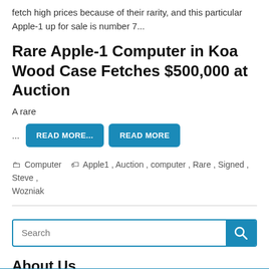fetch high prices because of their rarity, and this particular Apple-1 up for sale is number 7...
Rare Apple-1 Computer in Koa Wood Case Fetches $500,000 at Auction
A rare
... READ MORE... READ MORE
Computer  Apple1, Auction, computer, Rare, Signed, Steve, Wozniak
Search
About Us